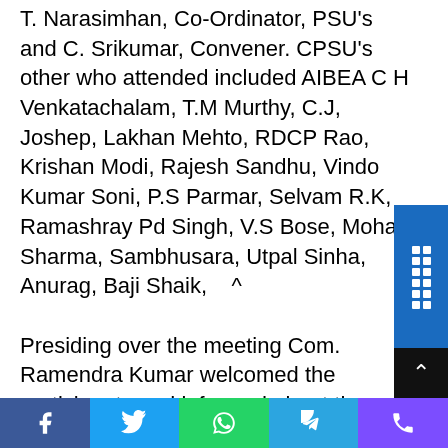T. Narasimhan, Co-Ordinator, PSU's and C. Srikumar, Convener. CPSU's other who attended included AIBEA C H Venkatachalam, T.M Murthy, C.J, Joshep, Lakhan Mehto, RDCP Rao, Krishan Modi, Rajesh Sandhu, Vindo Kumar Soni, P.S Parmar, Selvam R.K, Ramashray Pd Singh, V.S Bose, Mohan Sharma, Sambhusara, Utpal Sinha, Anurag, Baji Shaik,   ^
Presiding over the meeting Com. Ramendra Kumar welcomed the participants and informed about the importance of this meeting, since in the present regime at Delhi all the CPSU's are under serious threat of privatisation. While sector wise agitations are going on, time has come for combined action programme by all the CPSU's. To discuss and work out a joint Acti...